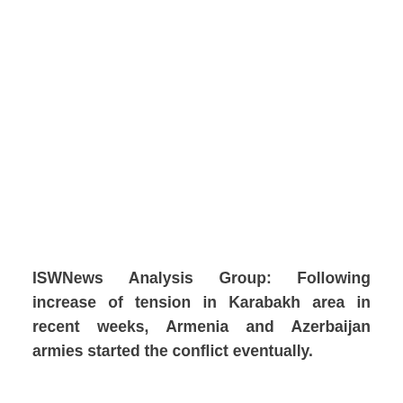ISWNews Analysis Group: Following increase of tension in Karabakh area in recent weeks, Armenia and Azerbaijan armies started the conflict eventually.